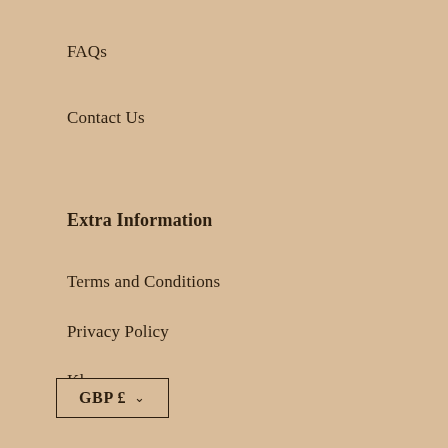FAQs
Contact Us
Extra Information
Terms and Conditions
Privacy Policy
Klarna
GBP £